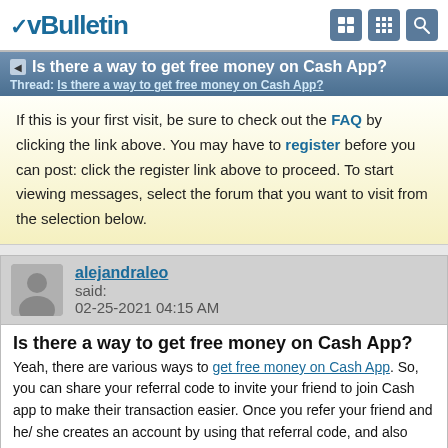vBulletin
Is there a way to get free money on Cash App?
Thread: Is there a way to get free money on Cash App?
If this is your first visit, be sure to check out the FAQ by clicking the link above. You may have to register before you can post: click the register link above to proceed. To start viewing messages, select the forum that you want to visit from the selection below.
alejandraleo said:
02-25-2021 04:15 AM
Is there a way to get free money on Cash App?
Yeah, there are various ways to get free money on Cash App. So, you can share your referral code to invite your friend to join Cash app to make their transaction easier. Once you refer your friend and he/ she creates an account by using that referral code, and also makes further